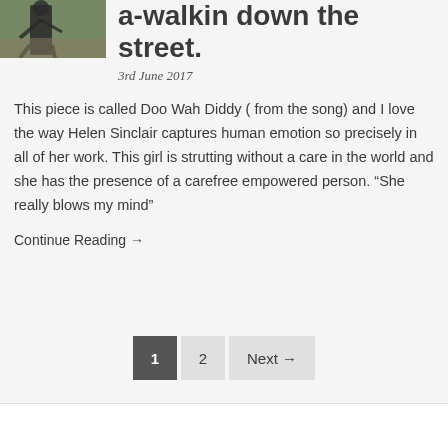[Figure (photo): A bronze sculpture of a girl walking, photographed outdoors on a stone base with green grass in the background.]
a-walkin down the street.
3rd June 2017
This piece is called Doo Wah Diddy ( from the song) and I love the way Helen Sinclair captures human emotion so precisely in all of her work. This girl is strutting without a care in the world and she has the presence of a carefree empowered person. “She really blows my mind”
Continue Reading →
1  2  Next →